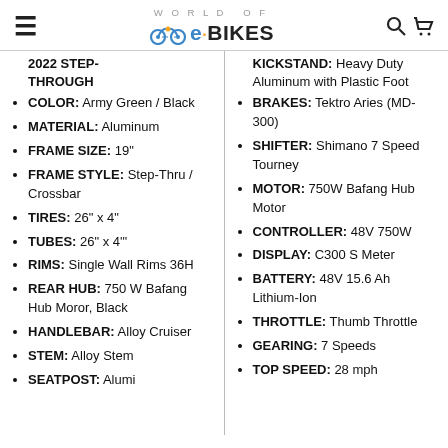World of e·BIKES
2022 STEP-THROUGH
COLOR: Army Green / Black
MATERIAL: Aluminum
FRAME SIZE: 19"
FRAME STYLE: Step-Thru / Crossbar
TIRES: 26" x 4"
TUBES: 26" x 4'"
RIMS: Single Wall Rims 36H
REAR HUB: 750 W Bafang Hub Moror, Black
HANDLEBAR: Alloy Cruiser
STEM: Alloy Stem
SEATPOST: Alumi...
KICKSTAND: Heavy Duty Aluminum with Plastic Foot
BRAKES: Tektro Aries (MD-300)
SHIFTER: Shimano 7 Speed Tourney
MOTOR: 750W Bafang Hub Motor
CONTROLLER: 48V 750W
DISPLAY: C300 S Meter
BATTERY: 48V 15.6 Ah Lithium-Ion
THROTTLE: Thumb Throttle
GEARING: 7 Speeds
TOP SPEED: 28 mph